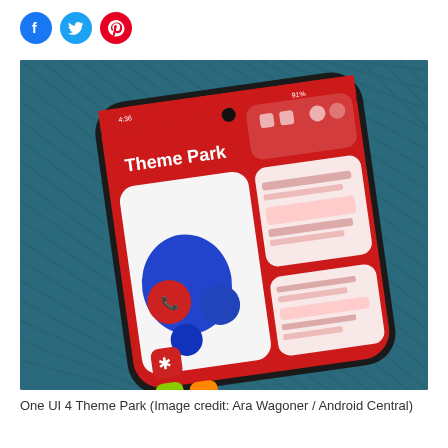[Figure (other): Social sharing icons row: Facebook (blue circle), Twitter (light blue circle), Pinterest (red circle)]
[Figure (photo): A Samsung smartphone displaying One UI 4 Theme Park app with a red theme. The phone screen shows app icons, a notification panel, and a 'Theme Park' label. The phone rests on a teal/blue corduroy fabric background.]
One UI 4 Theme Park (Image credit: Ara Wagoner / Android Central)